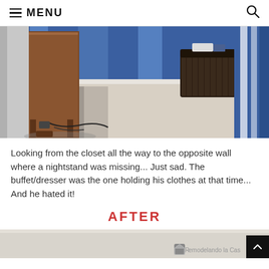≡ MENU
[Figure (photo): Room interior view looking from closet toward opposite wall with a wooden buffet/dresser on left side, a dark wicker basket in background against blue-painted wall, gray carpet on left transitioning to light carpet, blue and white striped fabric on right edge (bed railing), power cords visible on floor.]
Looking from the closet all the way to the opposite wall where a nightstand was missing... Just sad. The buffet/dresser was the one holding his clothes at that time... And he hated it!
AFTER
[Figure (photo): Bottom portion of a room photo, partially visible, with Remodelando la Casa watermark logo visible at bottom right.]